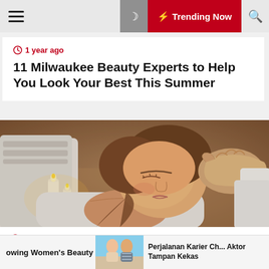Trending Now
1 year ago
11 Milwaukee Beauty Experts to Help You Look Your Best This Summer
[Figure (photo): Woman lying down receiving a facial massage at a spa, with candles in the background]
1 year ago
Mood-boosting Beauty, Meditative Rituals and Skin Care Devices to Reshape Wellness in
owing Women's Beauty
Perjalanan Karier Ch... Aktor Tampan Kekas